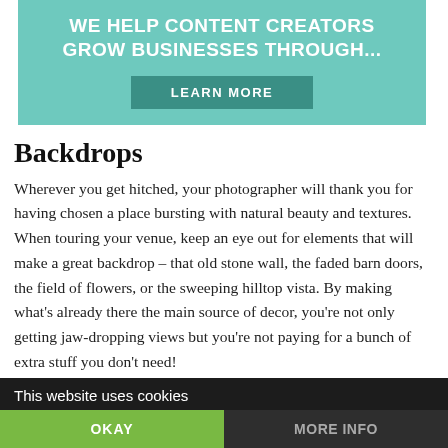[Figure (infographic): Teal/green banner advertisement with text 'WE HELP CONTENT CREATORS GROW BUSINESSES THROUGH...' and a 'LEARN MORE' button]
Backdrops
Wherever you get hitched, your photographer will thank you for having chosen a place bursting with natural beauty and textures. When touring your venue, keep an eye out for elements that will make a great backdrop – that old stone wall, the faded barn doors, the field of flowers, or the sweeping hilltop vista. By making what's already there the main source of decor, you're not only getting jaw-dropping views but you're not paying for a bunch of extra stuff you don't need!
This website uses cookies | OKAY | MORE INFO